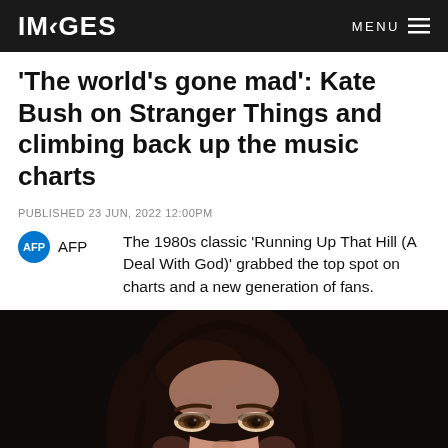IMAGES  MENU
'The world's gone mad': Kate Bush on Stranger Things and climbing back up the music charts
PUBLISHED 23 JUN, 2022 12:00PM
AFP  The 1980s classic 'Running Up That Hill (A Deal With God)' grabbed the top spot on charts and a new generation of fans.
[Figure (photo): Close-up portrait photo of a woman with dark brown hair, hazel/green eyes, wearing dark clothing, against a near-black background — Kate Bush.]